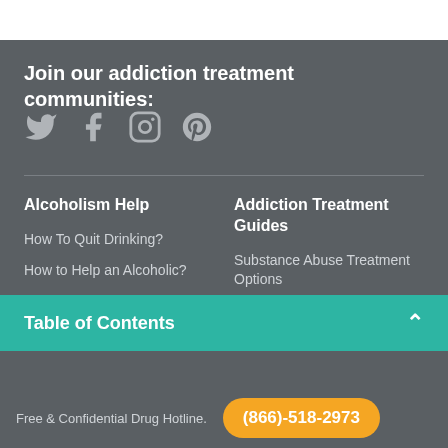Join our addiction treatment communities:
[Figure (illustration): Social media icons: Twitter (bird), Facebook (f), Instagram (camera), Pinterest (P) in gray]
Alcoholism Help
Addiction Treatment Guides
How To Quit Drinking?
How to Help an Alcoholic?
Alcohol Hotlines
Substance Abuse Treatment Options
Addiction Treatment
Effects of Alcoholism
Addiction Specialist Near
Table of Contents
Free & Confidential Drug Hotline.
(866)-518-2973